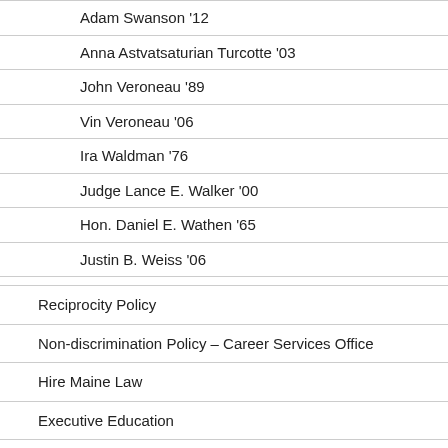Adam Swanson '12
Anna Astvatsaturian Turcotte '03
John Veroneau '89
Vin Veroneau '06
Ira Waldman '76
Judge Lance E. Walker '00
Hon. Daniel E. Wathen '65
Justin B. Weiss '06
Reciprocity Policy
Non-discrimination Policy – Career Services Office
Hire Maine Law
Executive Education